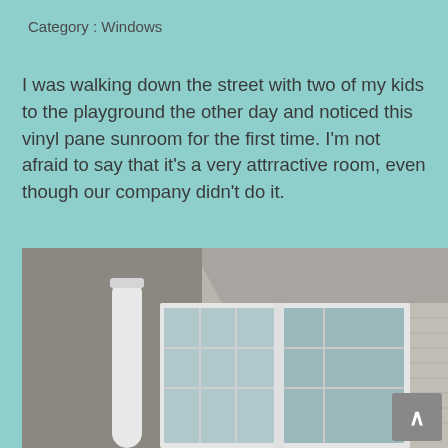Category:  Windows
I was walking down the street with two of my kids to the playground the other day and noticed this vinyl pane sunroom for the first time. I'm not afraid to say that it's a very attrractive room, even though our company didn't do it.
[Figure (photo): Exterior photo of a vinyl pane sunroom addition on a house, showing white-framed large windows with grid panes, a white column support, grey siding, and a flat roof overhang. A grey scroll-to-top button with a caret chevron is visible in the bottom right corner.]